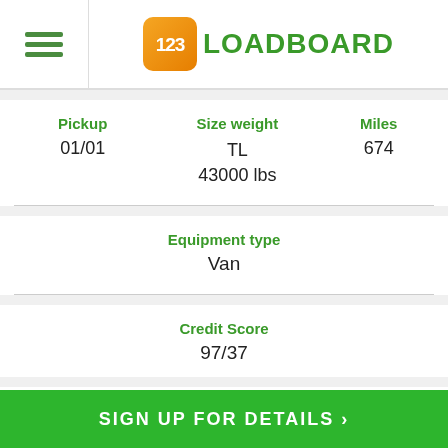[Figure (logo): 123Loadboard logo with orange rounded square containing '123' and green text 'LOADBOARD']
| Pickup | Size weight | Miles |
| --- | --- | --- |
| 01/01 | TL
43000 lbs | 674 |
| Equipment type |
| --- |
| Van |
| Credit Score |
| --- |
| 97/37 |
SIGN UP FOR DETAILS >